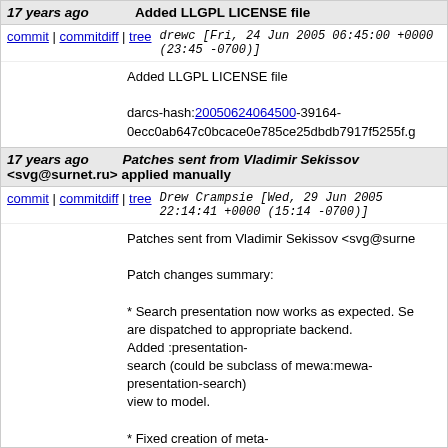17 years ago | Added LLGPL LICENSE file
commit | commitdiff | tree   drewc [Fri, 24 Jun 2005 06:45:00 +0000 (23:45 -0700)]
Added LLGPL LICENSE file

darcs-hash:20050624064500-39164-0ecc0ab647c0bcace0e785ce25dbdb7917f5255f.g
17 years ago   Patches sent from Vladimir Sekissov <svg@surnet.ru> applied manually
commit | commitdiff | tree   Drew Crampsie [Wed, 29 Jun 2005 22:14:41 +0000 (15:14 -0700)]
Patches sent from Vladimir Sekissov <svg@surne...

Patch changes summary:

* Search presentation now works as expected. Se... are dispatched to appropriate backend. Added :presentation-search (could be subclass of mewa:mewa-presentation-search) view to model.

* Fixed creation of meta-model class with distinct name